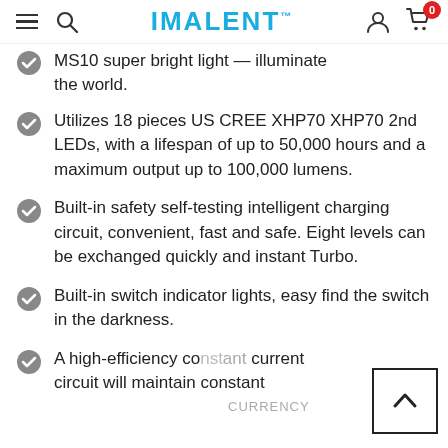IMALENT™ (navigation bar with hamburger, search, user, cart icons)
MS10 super bright light — illuminate the world.
Utilizes 18 pieces US CREE XHP70 XHP70 2nd LEDs, with a lifespan of up to 50,000 hours and a maximum output up to 100,000 lumens.
Built-in safety self-testing intelligent charging circuit, convenient, fast and safe. Eight levels can be exchanged quickly and instant Turbo.
Built-in switch indicator lights, easy find the switch in the darkness.
A high-efficiency constant current circuit will maintain constant